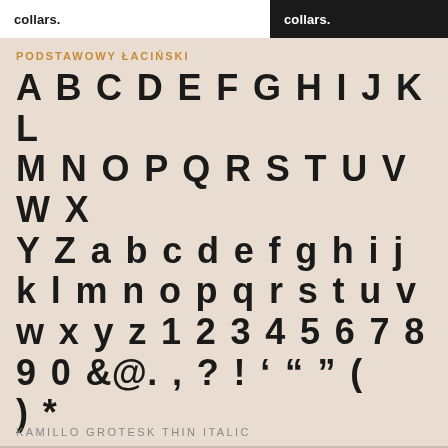collars.
collars.
PODSTAWOWY ŁACIŃSKI
A B C D E F G H I J K L M N O P Q R S T U V W X Y Z a b c d e f g h i j k l m n o p q r s t u v w x y z 1 2 3 4 5 6 7 8 9 0 &@.,?! ' " " ( ) *
KAMILLO GROTESK THIN ITALIC